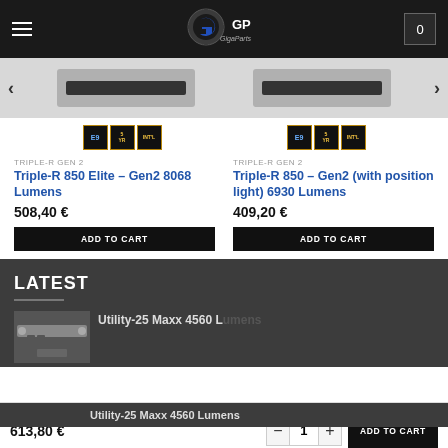GigaParts logo header with navigation menu and cart icon showing 0
[Figure (photo): Two LED light bar product images side by side with navigation arrows]
[Figure (other): Certification badge groups: E9, 5 year warranty, INT badges for both products]
TRIPLE-R GEN 2
Triple-R 850 Elite – Gen2 8068 Lumens
508,40 €
ADD TO CART
TRIPLE-R GEN 2
Triple-R 850 – Gen2 (with position light) 6930 Lumens
409,20 €
ADD TO CART
LATEST
[Figure (photo): Thumbnail of a LED light bar product]
Utility-25 Maxx 4560 Lumens
613,80 €
ADD TO CART